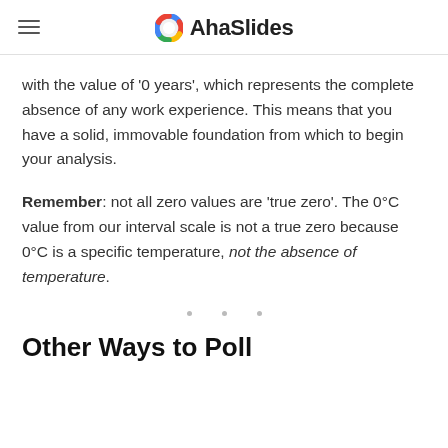AhaSlides
with the value of '0 years', which represents the complete absence of any work experience. This means that you have a solid, immovable foundation from which to begin your analysis.
Remember: not all zero values are 'true zero'. The 0°C value from our interval scale is not a true zero because 0°C is a specific temperature, not the absence of temperature.
Other Ways to Poll